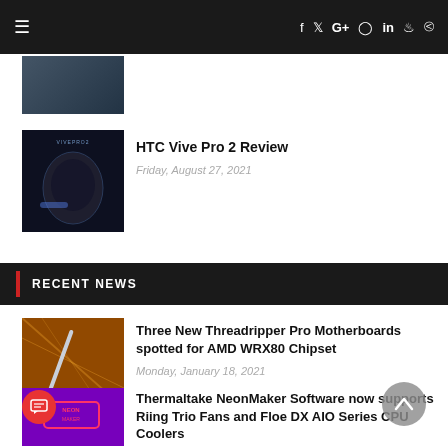Navigation bar with hamburger menu and social icons: f, Twitter, G+, Instagram, in, Steam, RSS
[Figure (photo): Partial thumbnail of an article at the top, cropped]
HTC Vive Pro 2 Review
Friday, August 27, 2021
RECENT NEWS
Three New Threadripper Pro Motherboards spotted for AMD WRX80 Chipset
Monday, January 18, 2021
Thermaltake NeonMaker Software now supports Riing Trio Fans and Floe DX AIO Series CPU Coolers
Monday, April 27, 2020